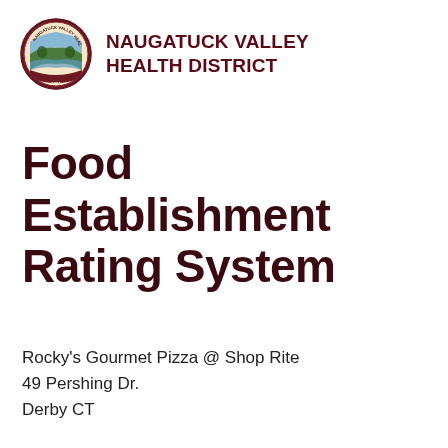NAUGATUCK VALLEY HEALTH DISTRICT
Food Establishment Rating System
Rocky's Gourmet Pizza @ Shop Rite
49 Pershing Dr.
Derby CT